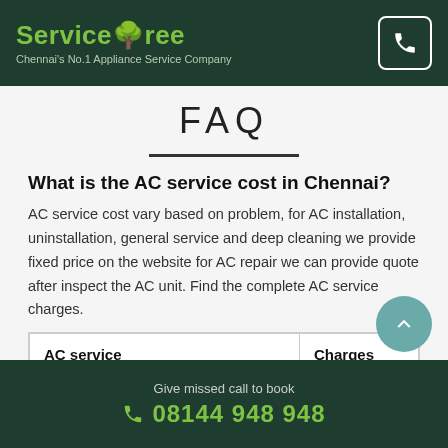ServiceTree - Chennai's No.1 Appliance Service Company
FAQ
What is the AC service cost in Chennai?
AC service cost vary based on problem, for AC installation, uninstallation, general service and deep cleaning we provide fixed price on the website for AC repair we can provide quote after inspect the AC unit. Find the complete AC service charges.
| AC service | Charges |
| --- | --- |
|  |  |
Give missed call to book 08144 948 948